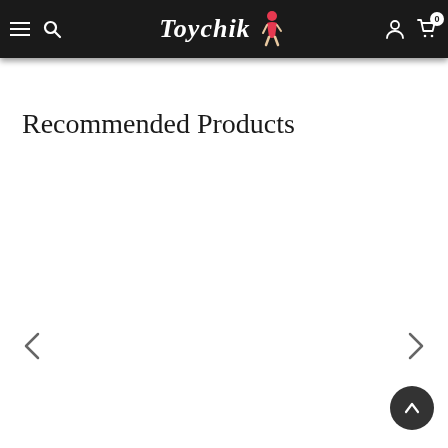Toychik — navigation bar with hamburger menu, search, brand logo, account, and cart (0)
Recommended Products
[Figure (other): Left chevron arrow navigation button]
[Figure (other): Right chevron arrow navigation button]
[Figure (other): Scroll-to-top button (dark circle with upward arrow)]